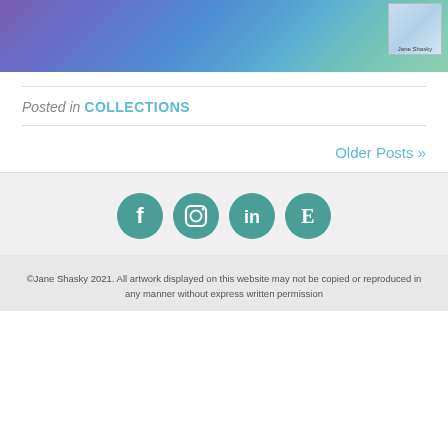[Figure (photo): Top portion of a floral quilt/fabric image in blue and purple tones, with a small thumbnail image in the top right corner labeled 'Jane Shasky']
Posted in COLLECTIONS
Older Posts »
[Figure (infographic): Four teal circular social media icons: Facebook, Instagram, LinkedIn, and Etsy]
©Jane Shasky 2021. All artwork displayed on this website may not be copied or reproduced in any manner without express written permission